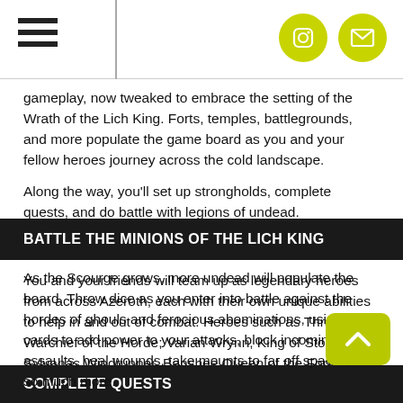gameplay, now tweaked to embrace the setting of the Wrath of the Lich King. Forts, temples, battlegrounds, and more populate the game board as you and your fellow heroes journey across the cold landscape.
Along the way, you'll set up strongholds, complete quests, and do battle with legions of undead.
BATTLE THE MINIONS OF THE LICH KING
You and your friends will team up as legendary heroes from across Azeroth, each with their own unique abilities to help in and out of combat. Heroes such as Thrall, Warchief of the Horde; Varian Wrynn, King of Stormwind; Sylvanas Windrunner, Banshee Queen of the Forsaken; and many more are at your fingertips.
As the Scourge grows, more undead will populate the board. Throw dice as you enter into battle against the hordes of ghouls and ferocious abominations, using hero cards to add power to your attacks, block incoming assaults, heal wounds, take mounts to far off spaces, and so much more.
COMPLETE QUESTS